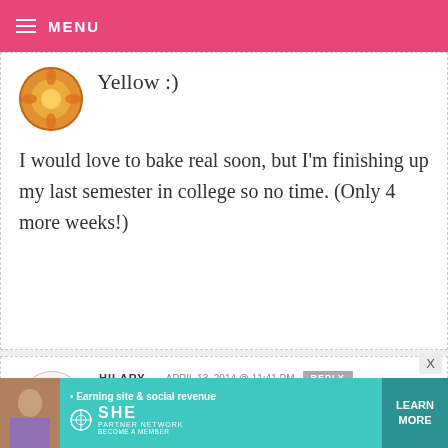MENU
Yellow :)
I would love to bake real soon, but I'm finishing up my last semester in college so no time. (Only 4 more weeks!)
HILARY — APRIL 13, 2014 @ 11:41 PM  REPLY
I would have to say PINK because my stepmother has been dying to get her hands on one of these for a loooooong
• Earning site & social revenue  SHE  PARTNER NETWORK  BECOME A MEMBER  LEARN MORE